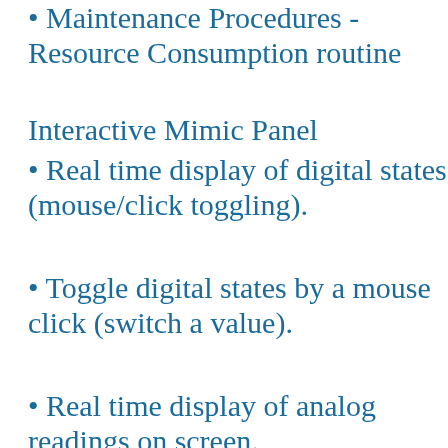Maintenance Procedures - Resource Consumption routine
Interactive Mimic Panel
Real time display of digital states (mouse/click toggling).
Toggle digital states by a mouse click (switch a value).
Real time display of analog readings on screen.
Change analog set points from screen (increase a [truncated]